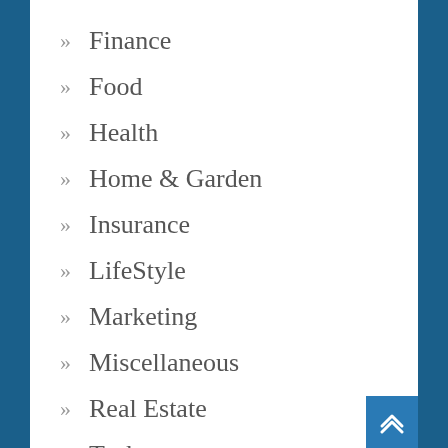Finance
Food
Health
Home & Garden
Insurance
LifeStyle
Marketing
Miscellaneous
Real Estate
Tech...